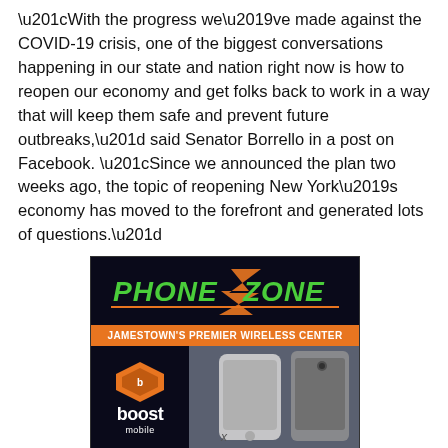“With the progress we’ve made against the COVID-19 crisis, one of the biggest conversations happening in our state and nation right now is how to reopen our economy and get folks back to work in a way that will keep them safe and prevent future outbreaks,” said Senator Borrello in a post on Facebook. “Since we announced the plan two weeks ago, the topic of reopening New York’s economy has moved to the forefront and generated lots of questions.”
[Figure (advertisement): Phone Zone advertisement: black background with green/orange Phone Zone logo text, orange banner reading JAMESTOWN'S PREMIER WIRELESS CENTER, Boost Mobile logo and icon on left, smartphone photos on right]
x